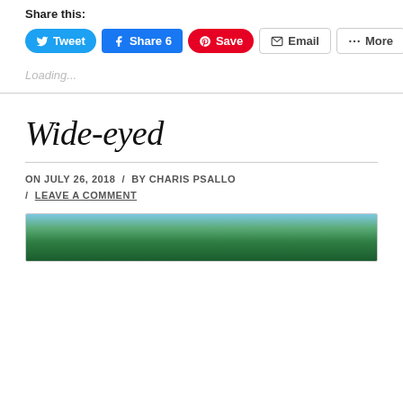Share this:
Tweet  Share 6  Save  Email  More
Loading...
Wide-eyed
ON JULY 26, 2018 / BY CHARIS PSALLO / LEAVE A COMMENT
[Figure (photo): Partial view of a photo showing green tree canopy and blue sky, visible at bottom of page.]